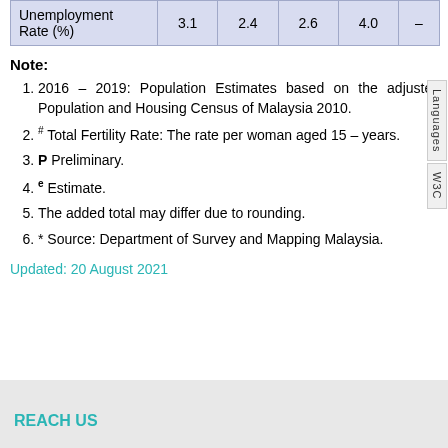|  |  |  |  |  |  |
| --- | --- | --- | --- | --- | --- |
| Unemployment Rate (%) | 3.1 | 2.4 | 2.6 | 4.0 | – |
Note:
2016 – 2019: Population Estimates based on the adjusted Population and Housing Census of Malaysia 2010.
# Total Fertility Rate: The rate per woman aged 15 – years.
P Preliminary.
e Estimate.
The added total may differ due to rounding.
* Source: Department of Survey and Mapping Malaysia.
Updated: 20 August 2021
REACH US